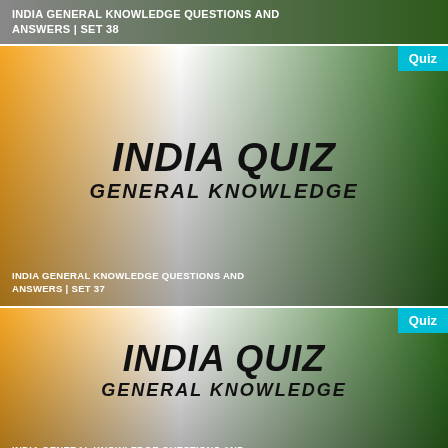INDIA GENERAL KNOWLEDGE QUESTIONS AND ANSWERS | SET 38
[Figure (illustration): India Quiz General Knowledge card with Indian flag colors gradient (orange, white, green). Has 'Quiz' badge top right. Text: INDIA QUIZ GENERAL KNOWLEDGE. Subtitle: INDIA GENERAL KNOWLEDGE QUESTIONS AND ANSWERS | SET 37]
[Figure (illustration): India Quiz General Knowledge card with Indian flag colors gradient (orange, white, green). Has 'Quiz' badge top right. Text: INDIA QUIZ GENERAL KNOWLEDGE. Subtitle: INDIA GENERAL KNOWLEDGE QUESTIONS AND]